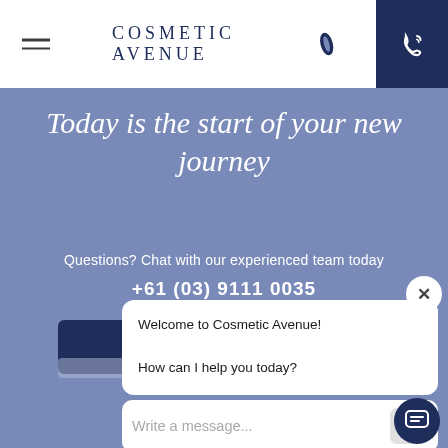COSMETIC AVENUE
Today is the start of your new journey
Questions? Chat with our experienced team today
+61 (03) 9111 0035
[Figure (screenshot): Chat widget popup with message 'Welcome to Cosmetic Avenue! How can I help you today?' and a 'Write a message...' input field with send button]
Welcome to Cosmetic Avenue!
How can I help you today?
Write a message...